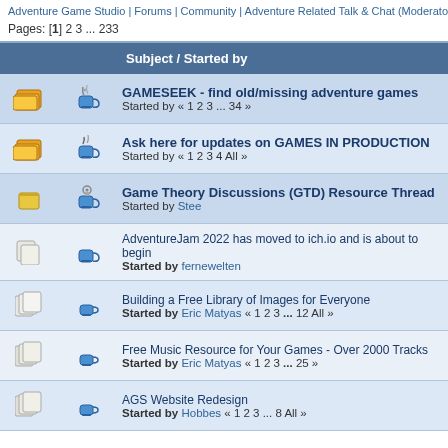Adventure Game Studio | Forums | Community | Adventure Related Talk & Chat (Moderator: …
Pages: [1] 2 3 ... 233
|  |  | Subject / Started by |
| --- | --- | --- |
| [icon] | [icon] | GAMESEEK - find old/missing adventure games
Started by « 1 2 3 ... 34 » |
| [icon] | [icon] | Ask here for updates on GAMES IN PRODUCTION
Started by « 1 2 3 4 All » |
| [icon] | [icon] | Game Theory Discussions (GTD) Resource Thread
Started by Stee |
| [icon] | [icon] | AdventureJam 2022 has moved to ich.io and is about to begin
Started by fernewelten |
| [icon] | [icon] | Building a Free Library of Images for Everyone
Started by Eric Matyas « 1 2 3 ... 12 All » |
| [icon] | [icon] | Free Music Resource for Your Games - Over 2000 Tracks
Started by Eric Matyas « 1 2 3 ... 25 » |
| [icon] | [icon] | AGS Website Redesign
Started by Hobbes « 1 2 3 ... 8 All » |